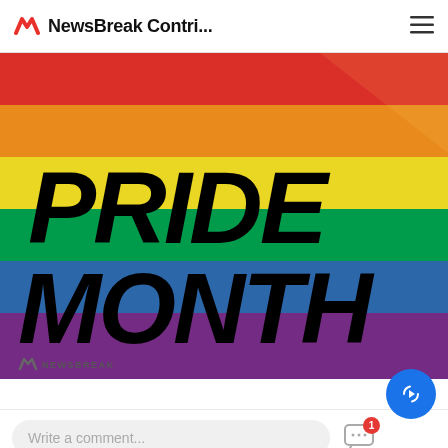NewsBreak Contri...
[Figure (illustration): Rainbow pride flag with 'PRIDE MONTH' text overlaid in large bold italic black letters. NewsBreak logo watermark in bottom-left corner.]
Write a comment...